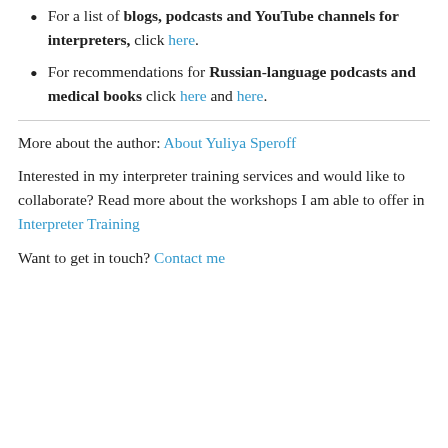For a list of blogs, podcasts and YouTube channels for interpreters, click here.
For recommendations for Russian-language podcasts and medical books click here and here.
More about the author: About Yuliya Speroff
Interested in my interpreter training services and would like to collaborate? Read more about the workshops I am able to offer in Interpreter Training
Want to get in touch? Contact me